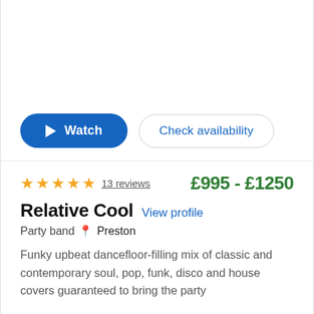[Figure (other): Video/media preview area (blank white)]
Watch | Check availability
★★★★★ 13 reviews   £995 - £1250
Relative Cool  View profile
Party band  📍 Preston
Funky upbeat dancefloor-filling mix of classic and contemporary soul, pop, funk, disco and house covers guaranteed to bring the party